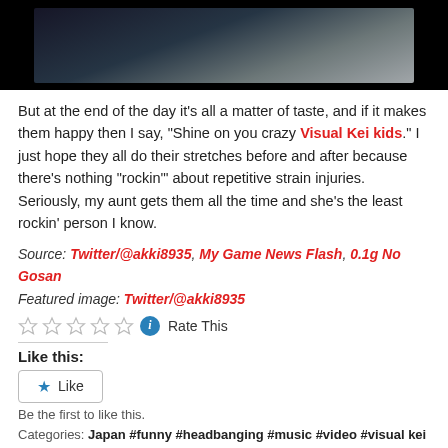[Figure (photo): Dark video thumbnail showing a blurry scene with dim lighting, black background surrounding a darkened image frame]
But at the end of the day it's all a matter of taste, and if it makes them happy then I say, “Shine on you crazy Visual Kei kids.” I just hope they all do their stretches before and after because there’s nothing “rockin’” about repetitive strain injuries. Seriously, my aunt gets them all the time and she’s the least rockin’ person I know.
Source: Twitter/@akki8935, My Game News Flash, 0.1g No Gosan
Featured image: Twitter/@akki8935
Rate This
Like this:
Like
Be the first to like this.
Categories: Japan #funny #headbanging #music #video #visual kei
Tweet